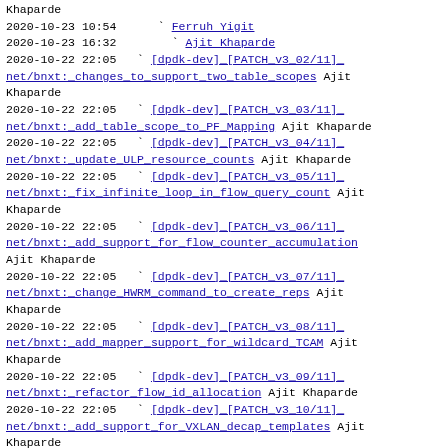Khaparde
2020-10-23 10:54   Ferruh Yigit
2020-10-23 16:32   Ajit Khaparde
2020-10-22 22:05  [dpdk-dev] [PATCH v3 02/11] net/bnxt: changes to support two table scopes Ajit Khaparde
2020-10-22 22:05  [dpdk-dev] [PATCH v3 03/11] net/bnxt: add table scope to PF Mapping Ajit Khaparde
2020-10-22 22:05  [dpdk-dev] [PATCH v3 04/11] net/bnxt: update ULP resource counts Ajit Khaparde
2020-10-22 22:05  [dpdk-dev] [PATCH v3 05/11] net/bnxt: fix infinite loop in flow query count Ajit Khaparde
2020-10-22 22:05  [dpdk-dev] [PATCH v3 06/11] net/bnxt: add support for flow counter accumulation Ajit Khaparde
2020-10-22 22:05  [dpdk-dev] [PATCH v3 07/11] net/bnxt: change HWRM command to create reps Ajit Khaparde
2020-10-22 22:05  [dpdk-dev] [PATCH v3 08/11] net/bnxt: add mapper support for wildcard TCAM Ajit Khaparde
2020-10-22 22:05  [dpdk-dev] [PATCH v3 09/11] net/bnxt: refactor flow id allocation Ajit Khaparde
2020-10-22 22:05  [dpdk-dev] [PATCH v3 10/11] net/bnxt: add support for VXLAN decap templates Ajit Khaparde
2020-10-22 22:05  [dpdk-dev] [PATCH v3 11/11] net/bnxt: add VXLAN decap offload support Ajit Khaparde